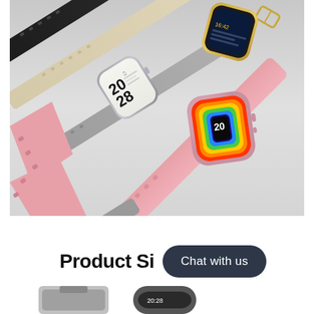[Figure (photo): Product photo showing multiple smartwatches with different colored silicone bands arranged diagonally on a light gray surface. Watches include black, beige/cream, gray, and pink bands. Two watch faces are visible: one with a monochrome digital display and one with a colorful rainbow/gradient display. Watch faces show time as 20:28.]
Product Si
Chat with us
[Figure (photo): Partial view of two smartwatch thumbnails at bottom of page, partially cut off]